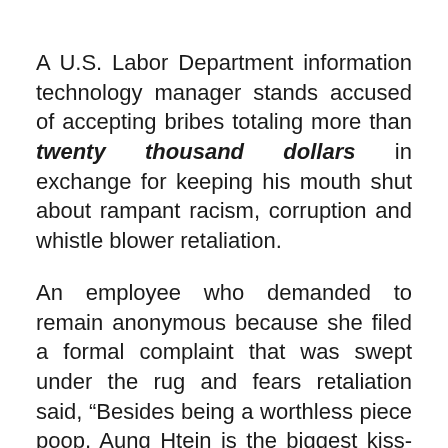A U.S. Labor Department information technology manager stands accused of accepting bribes totaling more than twenty thousand dollars in exchange for keeping his mouth shut about rampant racism, corruption and whistle blower retaliation.
An employee who demanded to remain anonymous because she filed a formal complaint that was swept under the rug and fears retaliation said, “Besides being a worthless piece poop, Aung Htein is the biggest kiss-ass on the planet. He only cares about himself.”
The page continues below this point...